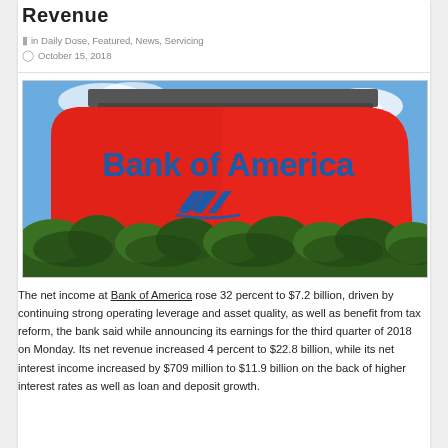Revenue
in Daily Dose, Featured, News, Servicing
October 15, 2018
[Figure (photo): Bank of America building with large red sign displaying 'Bank of America' logo and brand mark against a blue sky with trees in foreground]
The net income at Bank of America rose 32 percent to $7.2 billion, driven by continuing strong operating leverage and asset quality, as well as benefit from tax reform, the bank said while announcing its earnings for the third quarter of 2018 on Monday. Its net revenue increased 4 percent to $22.8 billion, while its net interest income increased by $709 million to $11.9 billion on the back of higher interest rates as well as loan and deposit growth.